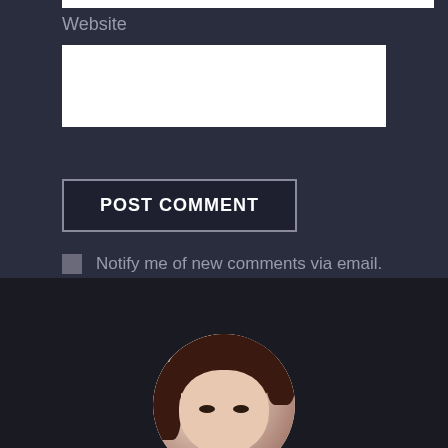Website
POST COMMENT
Notify me of new comments via email.
Notify me of new posts via email.
[Figure (photo): Circular avatar/profile photo of a person with dark hair against a light background, partially cropped at the bottom of the page.]